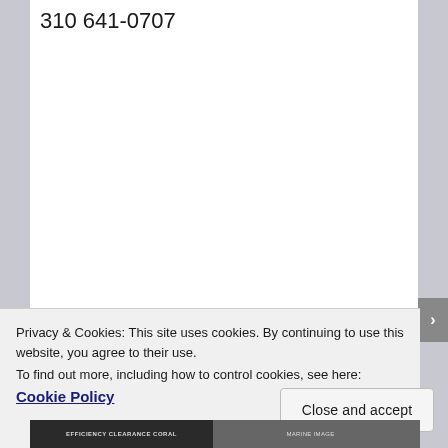310 641-0707
Privacy & Cookies: This site uses cookies. By continuing to use this website, you agree to their use.
To find out more, including how to control cookies, see here: Cookie Policy
Close and accept
[Figure (photo): Bottom strip showing two thumbnail images partially visible at the bottom of the page]